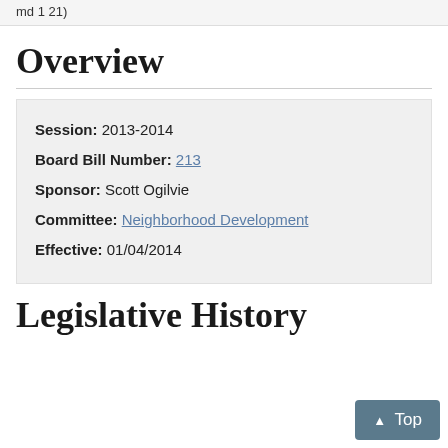md 1 21)
Overview
Session: 2013-2014
Board Bill Number: 213
Sponsor: Scott Ogilvie
Committee: Neighborhood Development
Effective: 01/04/2014
Legislative History